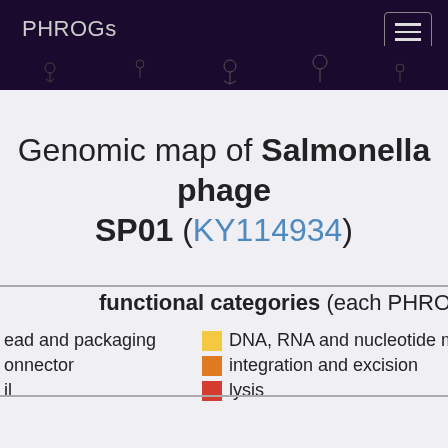PHROGs
Genomic map of Salmonella phage SP01 (KY114934)
functional categories (each PHROG ann...
head and packaging | DNA, RNA and nucleotide metabolism
connector | integration and excision
il | lysis